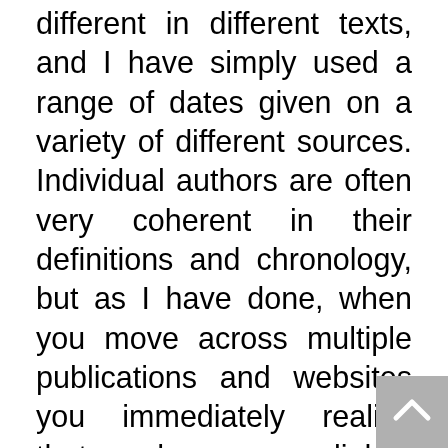different in different texts, and I have simply used a range of dates given on a variety of different sources. Individual authors are often very coherent in their definitions and chronology, but as I have done, when you move across multiple publications and websites you immediately realise that each uses a slightly different chronology to contextualise their research. The key here is that we are trying to discover features of Mesopotamian science and mathematics, not create a coherent description of the history of one of the world's earliest